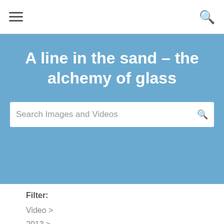≡   🔍
A line in the sand – the alchemy of glass
Search Images and Videos
Filter:
Video >
2013 >